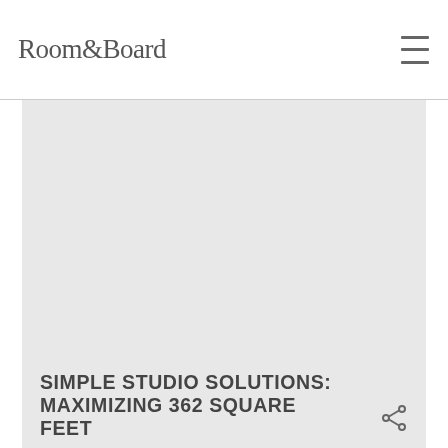Room&Board
[Figure (photo): Large rectangular image placeholder area for a studio apartment interior photo]
SIMPLE STUDIO SOLUTIONS: MAXIMIZING 362 SQUARE FEET